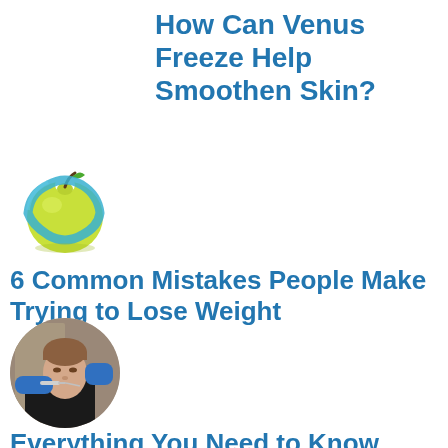How Can Venus Freeze Help Smoothen Skin?
[Figure (photo): Green apple wrapped with a blue measuring tape]
6 Common Mistakes People Make Trying to Lose Weight
[Figure (photo): Woman receiving a dermal filler injection in her chin area from a practitioner wearing blue gloves]
Everything You Need to Know About Dermal Fillers